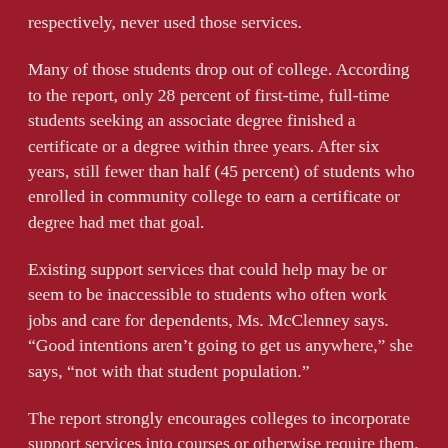respectively, never used those services.
Many of those students drop out of college. According to the report, only 28 percent of first-time, full-time students seeking an associate degree finished a certificate or a degree within three years. After six years, still fewer than half (45 percent) of students who enrolled in community college to earn a certificate or degree had met that goal.
Existing support services that could help may be or seem to be inaccessible to students who often work jobs and care for dependents, Ms. McClenney says. “Good intentions aren’t going to get us anywhere,” she says, “not with that student population.”
The report strongly encourages colleges to incorporate support services into courses or otherwise require them. Students who take success courses, for example, reported significant benefits: 69 percent said the courses helped them develop skills to become better students, and 60 percent said the courses helped them